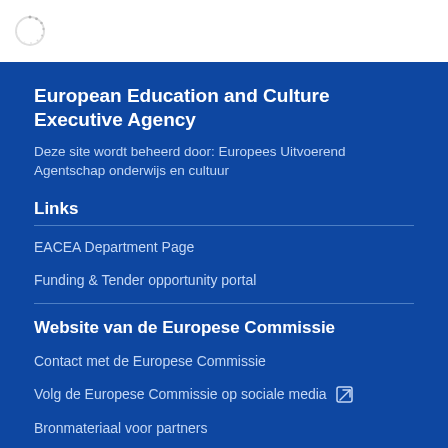European Education and Culture Executive Agency
Deze site wordt beheerd door: Europees Uitvoerend Agentschap onderwijs en cultuur
Links
EACEA Department Page
Funding & Tender opportunity portal
Website van de Europese Commissie
Contact met de Europese Commissie
Volg de Europese Commissie op sociale media
Bronmateriaal voor partners